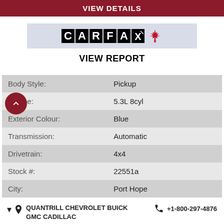VIEW DETAILS
[Figure (logo): CARFAX Canada logo with maple leaf, with VIEW REPORT button below]
| Body Style: | Pickup |
| Engine: | 5.3L 8cyl |
| Exterior Colour: | Blue |
| Transmission: | Automatic |
| Drivetrain: | 4x4 |
| Stock #: | 22551a |
| City: | Port Hope |
QUANTRILL CHEVROLET BUICK GMC CADILLAC   +1-800-297-4876
GMC Infotainment System w/ Colour Touch Display, Bluetooth Streaming, 4G LTE Hotspot Capable, AM/FM/ Sirius XM Radio, Hands Free Communications, Steering Wheel Audio Controls, Rear Vision Camera, Cruise Control, Heated...